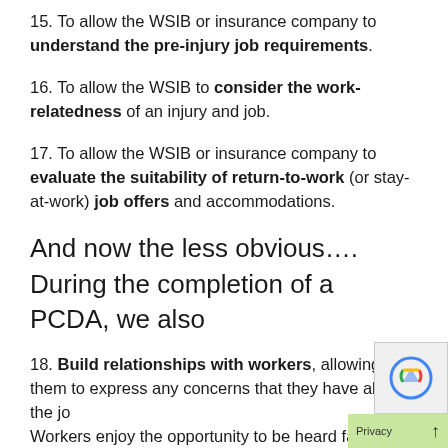15. To allow the WSIB or insurance company to understand the pre-injury job requirements.
16. To allow the WSIB to consider the work-relatedness of an injury and job.
17. To allow the WSIB or insurance company to evaluate the suitability of return-to-work (or stay-at-work) job offers and accommodations.
And now the less obvious…. During the completion of a PCDA, we also
18. Build relationships with workers, allowing them to express any concerns that they have about the jo... Workers enjoy the opportunity to be heard face-to-face, and to help the ergonomist to understand and